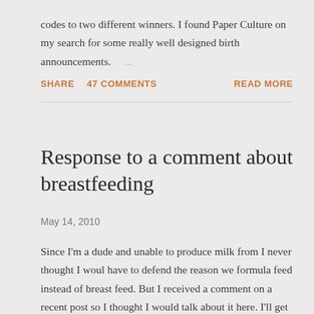codes to two different winners. I found Paper Culture on my search for some really well designed birth announcements. ...
SHARE   47 COMMENTS   READ MORE
Response to a comment about breastfeeding
May 14, 2010
Since I'm a dude and unable to produce milk from I never thought I woul have to defend the reason we formula feed instead of breast feed. But I received a comment on a recent post so I thought I would talk about it here. I'll get to the why we d... ...